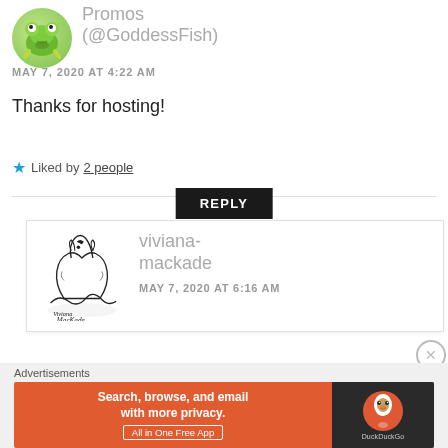[Figure (illustration): Circular avatar showing a green frog illustration on light green background]
Promos (@GoddessFish)
MAY 7, 2020 AT 4:22 AM
Thanks for hosting!
★ Liked by 2 people
REPLY
[Figure (logo): Viviana MacKade wolf logo — black line-art of a howling wolf with cursive text 'Viviana MacKade']
viviana-mackade
MAY 7, 2020 AT 6:16 AM
Advertisements
[Figure (screenshot): DuckDuckGo advertisement banner: orange left half reads 'Search, browse, and email with more privacy. All in One Free App', dark right half shows DuckDuckGo duck logo]